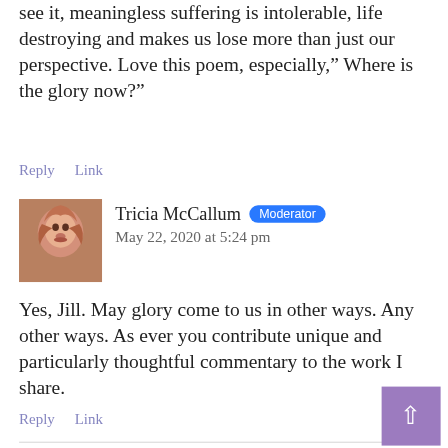see it, meaningless suffering is intolerable, life destroying and makes us lose more than just our perspective. Love this poem, especially,” Where is the glory now?”
Reply   Link
Tricia McCallum  Moderator
May 22, 2020 at 5:24 pm
Yes, Jill. May glory come to us in other ways. Any other ways. As ever you contribute unique and particularly thoughtful commentary to the work I share.
Reply   Link
Add a Comment
Your email address will not be published. Required fields are marked *